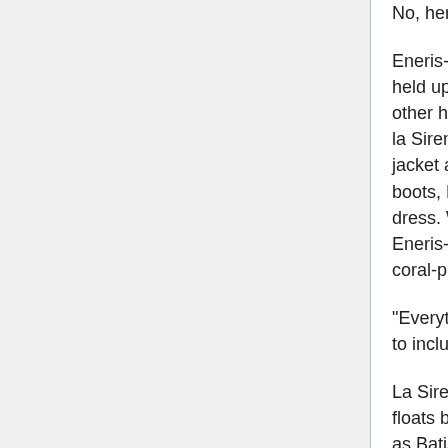No, her photo-negative.
Eneris-Al looms above her with her slappin' hand held up with her fingers slightly splayed out, her other hand on her hip. Her outfit is not exactly like la Sirene's - where la Sirene is wearing a splendid jacket and a skirt with striped leggings and tough boots, Eneris-Al has a fur boa and a cocktail-style dress. Where la Sirene's fingernails are opal, Eneris-Al's are obsidian. Where la Sirene's lips are coral-purple, Eneris-Al's are blood crimson.
"Everything for Lord Mobius! But does it really have to include YOU?" Eneris-Al says.
La Sirene's answer is incoherent. Mme. Meduse floats backwards, flashing a warning carmine even as Batiste tries to help la Sirene up, a thing which Batiste